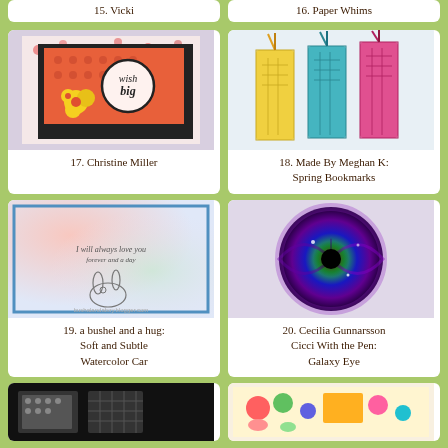15. Vicki
16. Paper Whims
[Figure (photo): Handmade greeting card with floral patterned paper, yellow flowers, and 'wish big' stamped text in a circle]
17. Christine Miller
[Figure (photo): Three decorative bookmarks with cross-stitch pattern in yellow, teal/blue, and pink with tassels on top]
18. Made By Meghan K: Spring Bookmarks
[Figure (photo): Soft watercolor card with a bunny sketch and handwritten text 'I will always love you forever and a day']
19. a bushel and a hug: Soft and Subtle Watercolor Car
[Figure (photo): Galaxy eye artwork showing a circular eye with purple, green, and yellow swirling colors resembling a galaxy]
20. Cecilia Gunnarsson Cicci With the Pen: Galaxy Eye
[Figure (photo): Partial view of a craft/stamping project with polka dot and mesh patterns on dark background]
[Figure (photo): Partial view of a colorful card or craft project with bright illustrated characters]